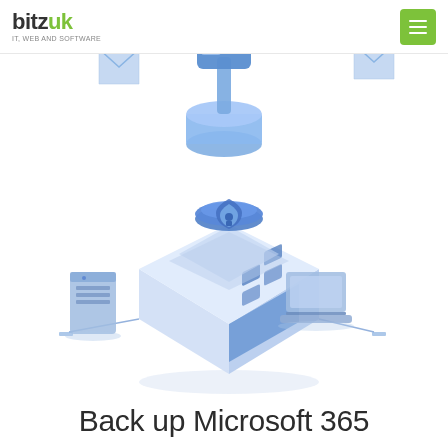bitzuk — IT, WEB AND SOFTWARE
[Figure (illustration): Isometric illustration of a cloud backup / security system: a translucent blue cube with a shield-lock icon on top, connected by lines to a blue server tower on the left and a blue laptop on the right. Above and partially cropped at the top are additional blue isometric icons including a hammer/tool and envelope shapes, representing Microsoft 365 services.]
Back up Microsoft 365